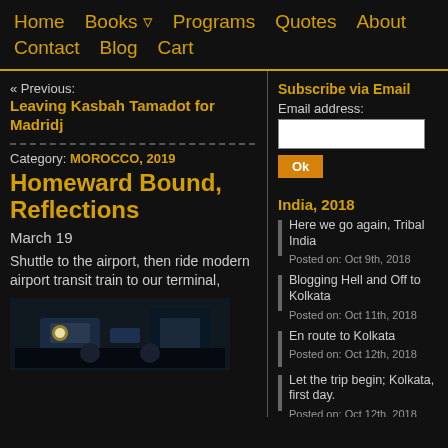Home  Books  Programs  Quotes  About  Contact  Blog  Cart
« Previous:
Leaving Kasbah Tamadot for Madridj
Category: MOROCCO, 2019
Homeward Bound, Reflections
March 19
Shuttle to the airport, then ride modern airport transit train to our terminal,
[Figure (photo): Dark photo of interior, possibly a vehicle or aircraft cockpit]
Subscribe via Email
Email address:
India, 2018
Here we go again, Tribal India
Posted on: Oct 9th, 2018
Blogging Hell and Off to Kolkata
Posted on: Oct 11th, 2018
En route to Kolkata
Posted on: Oct 12th, 2018
Let the trip begin; Kolkata, first day.
Posted on: Oct 12th, 2018
Kolkata, Day Two: